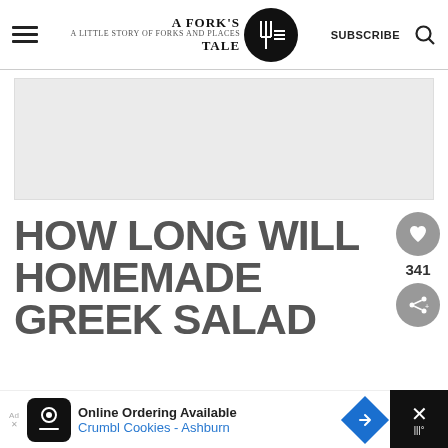A Fork's Tale — navigation header with hamburger menu, logo, SUBSCRIBE, and search icon
[Figure (other): Gray advertisement placeholder rectangle]
HOW LONG WILL HOMEMADE GREEK SALAD
[Figure (other): Social panel with heart/favorite button showing count 341 and share button]
[Figure (other): Bottom ad banner: Online Ordering Available, Crumbl Cookies - Ashburn, with close button]